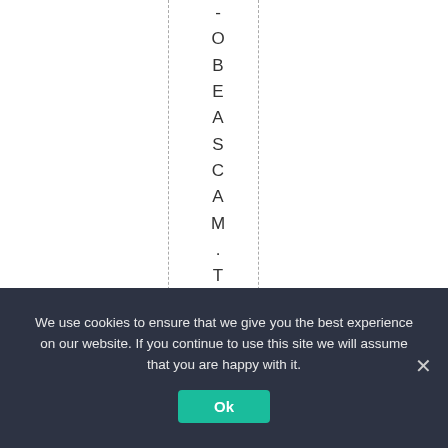OBEASCA M . T h a t i s w h y
We use cookies to ensure that we give you the best experience on our website. If you continue to use this site we will assume that you are happy with it.